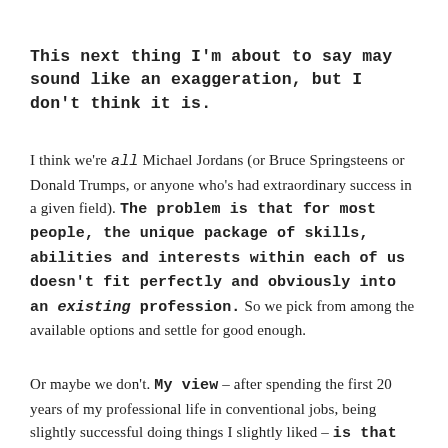This next thing I'm about to say may sound like an exaggeration, but I don't think it is.
I think we're all Michael Jordans (or Bruce Springsteens or Donald Trumps, or anyone who's had extraordinary success in a given field). The problem is that for most people, the unique package of skills, abilities and interests within each of us doesn't fit perfectly and obviously into an existing profession. So we pick from among the available options and settle for good enough.
Or maybe we don't. My view – after spending the first 20 years of my professional life in conventional jobs, being slightly successful doing things I slightly liked – is that the point of starting your own business is to create a custom-made occupation. A unique livelihood that pulls together all the things you love and are good at doing, into one basketball-dunking, crowd-pleasing,